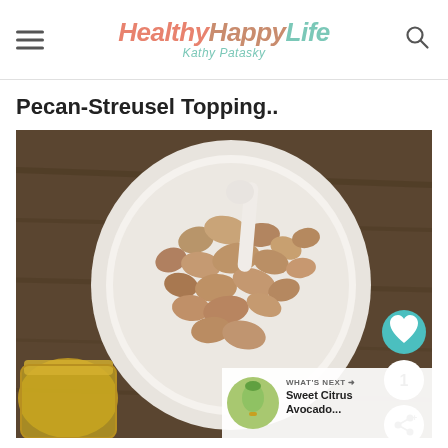Healthy Happy Life — Kathy Patasky
Pecan-Streusel Topping..
[Figure (photo): A white bowl filled with pecan streusel topping crumbles, with a white spoon, on a wooden surface. A glass jar with yellow liquid is visible at the lower left. Social sharing buttons (heart, count 1, share) and a 'What's Next' preview for 'Sweet Citrus Avocado...' appear overlaid on the image.]